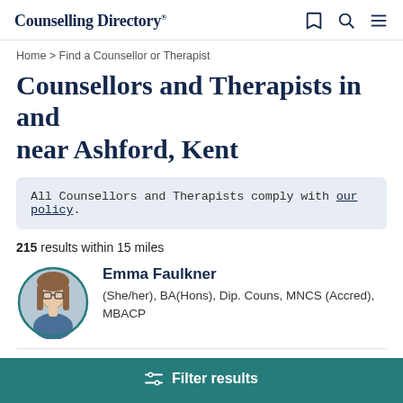Counselling Directory
Home > Find a Counsellor or Therapist
Counsellors and Therapists in and near Ashford, Kent
All Counsellors and Therapists comply with our policy.
215 results within 15 miles
[Figure (photo): Circular profile photo of Emma Faulkner, a woman with long brown hair and glasses, seated in front of a blue backdrop]
Emma Faulkner (She/her), BA(Hons), Dip. Couns, MNCS (Accred), MBACP
Filter results